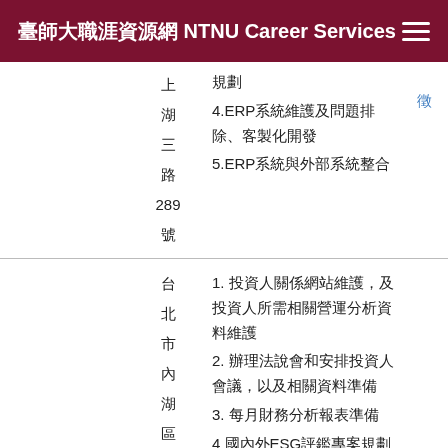臺師大職涯資源網 NTNU Career Services
| 職稱 | 人數 | 地點 | 工作內容 | 應徵 |
| --- | --- | --- | --- | --- |
|  |  | 上湖三路289號 | 規劃
4.ERP系統維護及問題排除、客製化開發
5.ERP系統與外部系統整合 | 徵 |
| 財務管理師 | 1 | 台北市內湖區大學以新 | 1. 投資人關係網站維護，及投資人所需相關營運分析資料維護
2. 辦理法說會和安排投資人會議，以及相關資料準備
3. 每月財務分析報表準備
4 國內外ESG評鑑專案規劃及涉關執行 | 我要應 |